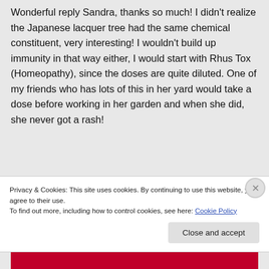Wonderful reply Sandra, thanks so much! I didn't realize the Japanese lacquer tree had the same chemical constituent, very interesting! I wouldn't build up immunity in that way either, I would start with Rhus Tox (Homeopathy), since the doses are quite diluted. One of my friends who has lots of this in her yard would take a dose before working in her garden and when she did, she never got a rash!
Privacy & Cookies: This site uses cookies. By continuing to use this website, you agree to their use. To find out more, including how to control cookies, see here: Cookie Policy